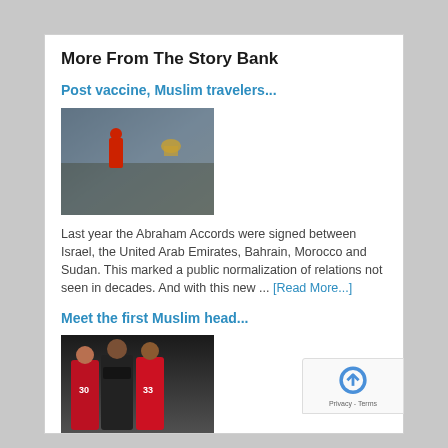More From The Story Bank
Post vaccine, Muslim travelers...
[Figure (photo): Person in red jacket standing on hillside overlooking a city with a golden dome visible in background]
Last year the Abraham Accords were signed between Israel, the United Arab Emirates, Bahrain, Morocco and Sudan. This marked a public normalization of relations not seen in decades. And with this new ... [Read More...]
Meet the first Muslim head...
[Figure (photo): Football players in red and white uniforms with numbers 30 and 33, with coaches wearing masks]
As new head coach for the New York Jets, Robert Saleh is making history as the first Muslim American to lead a team in the National Football League. The Lebanese American is also the third Arab ... [Read More...]